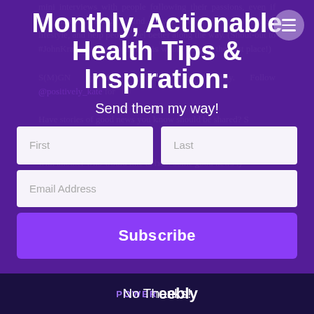Monthly, Actionable Health Tips & Inspiration:
Send them my way!
First
Last
Email Address
Subscribe
No Thanks!
POWERED Weebly